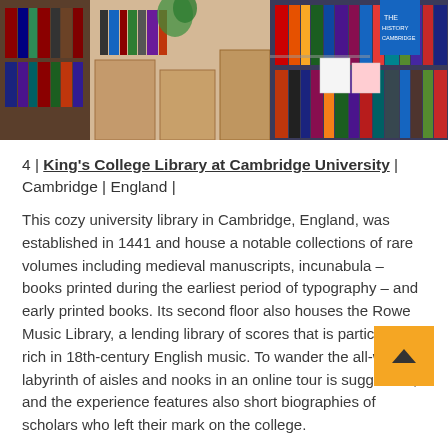[Figure (photo): Photo of a library interior showing shelves packed with books, cardboard boxes, stacks of various volumes in multiple colors]
4 | King's College Library at Cambridge University | Cambridge | England |
This cozy university library in Cambridge, England, was established in 1441 and house a notable collections of rare volumes including medieval manuscripts, incunabula – books printed during the earliest period of typography – and early printed books. Its second floor also houses the Rowe Music Library, a lending library of scores that is particularly rich in 18th-century English music. To wander the all-wood labyrinth of aisles and nooks in an online tour is suggestive, and the experience features also short biographies of scholars who left their mark on the college.
–CLICK HERE TO VISIT–